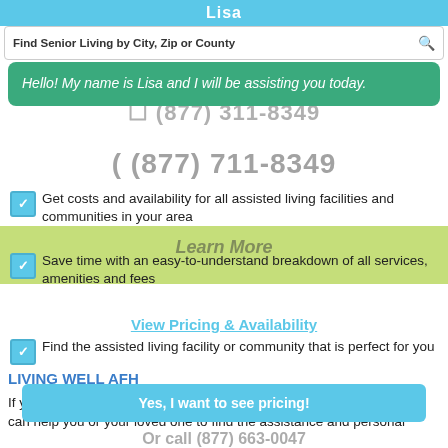Lisa
Find Senior Living by City, Zip or County
Hello! My name is Lisa and I will be assisting you today.
(877) 311-8349
(877) 711-8349
Get costs and availability for all assisted living facilities and communities in your area
Learn More
Save time with an easy-to-understand breakdown of all services, amenities and fees
View Pricing & Availability
Find the assisted living facility or community that is perfect for you
LIVING WELL AFH
Yes, I want to see pricing!
If you have a pet and also need help with daily living, Living Well Afh can help you or your loved one to find the assistance and personal
Or call (877) 663-0047